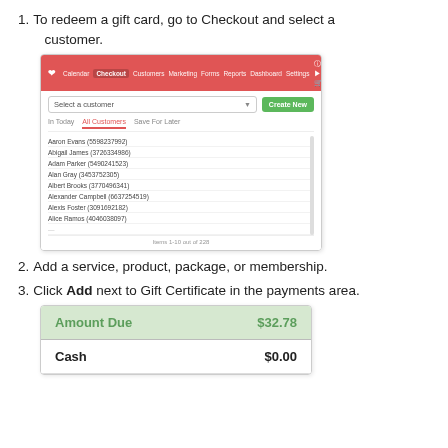1. To redeem a gift card, go to Checkout and select a customer.
[Figure (screenshot): Software UI screenshot showing customer selection dropdown with navigation bar and list of customers including Aaron Evans, Abigail James, Adam Parker, Alan Gray, Albert Brooks, Alexander Campbell, Alexis Foster, Alice Ramos. Shows 'Items 1-10 out of 228'.]
2. Add a service, product, package, or membership.
3. Click Add next to Gift Certificate in the payments area.
[Figure (screenshot): Payment area screenshot showing Amount Due $32.78 in green and Cash $0.00 in black on white background.]